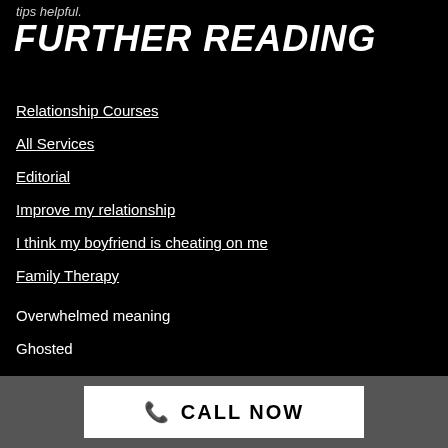tips helpful.
FURTHER READING
Relationship Courses
All Services
Editorial
Improve my relationship
I think my boyfriend is cheating on me
Family Therapy
Overwhelmed meaning
Ghosted
PTSD quotes
Cheating quotes
CALL NOW